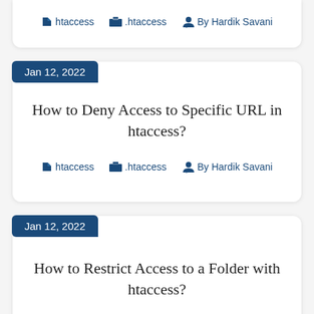htaccess  .htaccess  By Hardik Savani
Jan 12, 2022
How to Deny Access to Specific URL in htaccess?
htaccess  .htaccess  By Hardik Savani
Jan 12, 2022
How to Restrict Access to a Folder with htaccess?